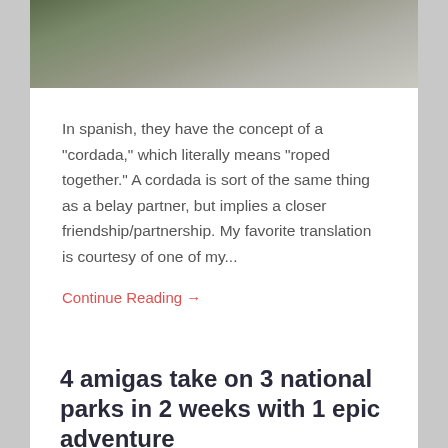[Figure (photo): Partial view of rocky mountain terrain in black and white/grayscale, showing granite rock face with some vegetation]
In spanish, they have the concept of a "cordada," which literally means "roped together." A cordada is sort of the same thing as a belay partner, but implies a closer friendship/partnership. My favorite translation is courtesy of one of my...
Continue Reading →
May 31, 2022   2
4 amigas take on 3 national parks in 2 weeks with 1 epic adventure